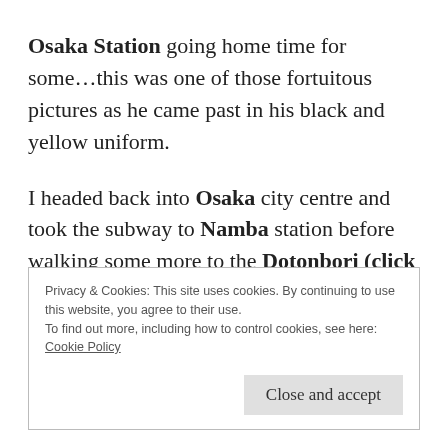Osaka Station going home time for some...this was one of those fortuitous pictures as he came past in his black and yellow uniform.
I headed back into Osaka city centre and took the subway to Namba station before walking some more to the Dotonbori (click for link) area. The Japan National Tourism page gives a
Privacy & Cookies: This site uses cookies. By continuing to use this website, you agree to their use.
To find out more, including how to control cookies, see here:
Cookie Policy